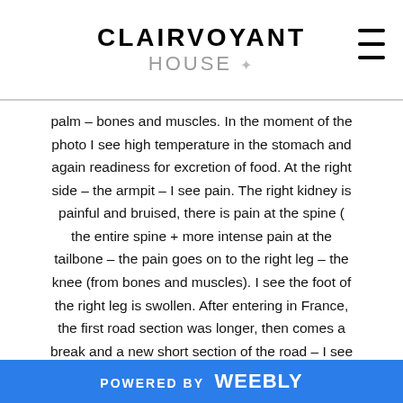CLAIRVOYANT HOUSE
palm – bones and muscles. In the moment of the photo I see high temperature in the stomach and again readiness for excretion of food. At the right side – the armpit – I see pain. The right kidney is painful and bruised, there is pain at the spine ( the entire spine + more intense pain at the tailbone – the pain goes on to the right leg – the knee (from bones and muscles). I see the foot of the right leg is swollen. After entering in France, the first road section was longer, then comes a break and a new short section of the road – I see problems on the road. She moved along the height of the mountain. I see an object on the road – at her right side – when she was going downwards the section of the road I see the car
POWERED BY weebly